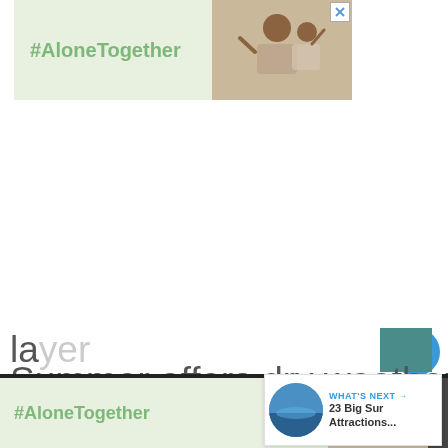[Figure (screenshot): Advertisement banner at top with light green background showing '#AloneTogether' text in green and a photo of a man and child waving, with an X close button in the top right corner.]
[Figure (screenshot): Interactive UI elements: a blue circular heart/like button, a count badge showing '7', and a blue circular share button with connected dots icon.]
Summer offers dry weather and long daylight hours. Although the marine la...er it...urns
[Figure (screenshot): WHAT'S NEXT panel showing '23 Big Sur Attractions...' with a circular thumbnail image of an ocean/coastal scene.]
[Figure (screenshot): Advertisement banner at bottom with black top bar, light green background showing '#AloneTogether' text in green and a photo of a man and child waving. An X close button visible.]